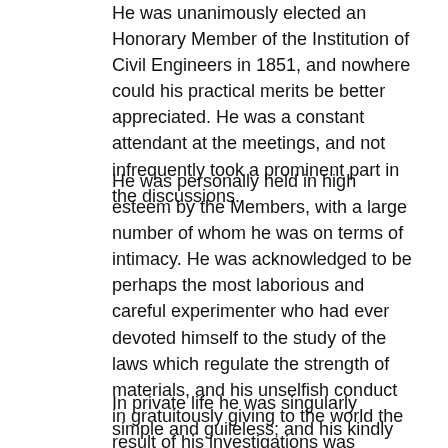He was unanimously elected an Honorary Member of the Institution of Civil Engineers in 1851, and nowhere could his practical merits be better appreciated. He was a constant attendant at the meetings, and not infrequently took a prominent part in the discussions.
He was personally held in high esteem by the Members, with a large number of whom he was on terms of intimacy. He was acknowledged to be perhaps the most laborious and careful experimenter who had ever devoted himself to the study of the laws which regulate the strength of materials, and his unselfish conduct in gratuitously giving to the world the result of his investigations was generally admired. He was attached to science for its own sake, and he was well versed in other branches than that to which he specially devoted himself.
In private life he was singularly simple and guileless; and his kindly disposition endeared him to all who had the good fortune to make his acquaintance.